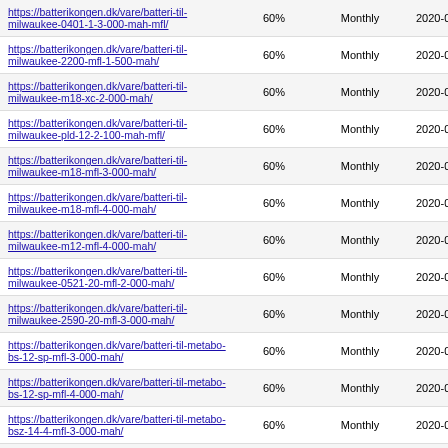| https://batterikongen.dk/vare/batteri-til-milwaukee-0401-1-3-000-mah-mfl/ | 60% | Monthly | 2020-01-21 15:52 |
| https://batterikongen.dk/vare/batteri-til-milwaukee-2200-mfl-1-500-mah/ | 60% | Monthly | 2020-01-21 15:52 |
| https://batterikongen.dk/vare/batteri-til-milwaukee-m18-xc-2-000-mah/ | 60% | Monthly | 2020-01-21 15:52 |
| https://batterikongen.dk/vare/batteri-til-milwaukee-pld-12-2-100-mah-mfl/ | 60% | Monthly | 2020-01-21 15:52 |
| https://batterikongen.dk/vare/batteri-til-milwaukee-m18-mfl-3-000-mah/ | 60% | Monthly | 2020-01-21 15:52 |
| https://batterikongen.dk/vare/batteri-til-milwaukee-m18-mfl-4-000-mah/ | 60% | Monthly | 2020-01-21 15:52 |
| https://batterikongen.dk/vare/batteri-til-milwaukee-m12-mfl-4-000-mah/ | 60% | Monthly | 2020-01-21 15:52 |
| https://batterikongen.dk/vare/batteri-til-milwaukee-0521-20-mfl-2-000-mah/ | 60% | Monthly | 2020-01-21 15:52 |
| https://batterikongen.dk/vare/batteri-til-milwaukee-2590-20-mfl-3-000-mah/ | 60% | Monthly | 2020-01-21 15:52 |
| https://batterikongen.dk/vare/batteri-til-metabo-bs-12-sp-mfl-3-000-mah/ | 60% | Monthly | 2020-01-21 15:52 |
| https://batterikongen.dk/vare/batteri-til-metabo-bs-12-sp-mfl-4-000-mah/ | 60% | Monthly | 2020-01-21 15:52 |
| https://batterikongen.dk/vare/batteri-til-metabo-bsz-14-4-mfl-3-000-mah/ | 60% | Monthly | 2020-01-21 15:52 |
| https://batterikongen.dk/vare/batteri-til-metabo-bsz-14-4-mfl-4-000-mah/ | 60% | Monthly | 2020-01-21 15:52 |